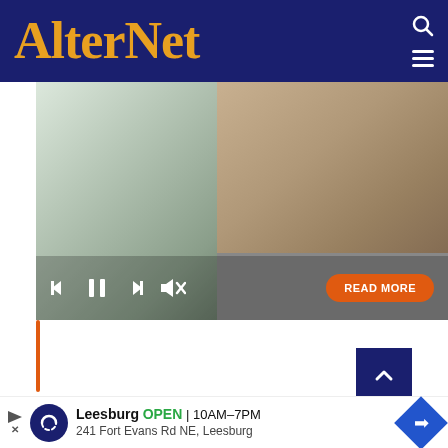AlterNet
[Figure (screenshot): Video player showing a meat processing facility worker in white lab coat with chickens hanging on a processing line. Video controls visible at bottom including skip back, pause, skip forward, and mute buttons. Orange 'READ MORE' button on the right side of the controls.]
AROUND THE WEB
[Figure (photo): Close-up dark photo, partially visible, with close button (X) in top right corner.]
Leesburg OPEN 10AM–7PM 241 Fort Evans Rd NE, Leesburg